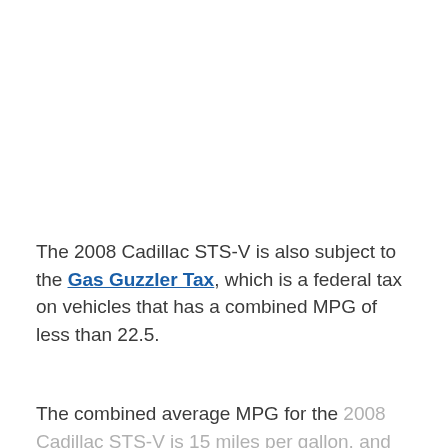The 2008 Cadillac STS-V is also subject to the Gas Guzzler Tax, which is a federal tax on vehicles that has a combined MPG of less than 22.5.
The combined average MPG for the 2008 Cadillac STS-V is 15 miles per gallon, and according to the current tax